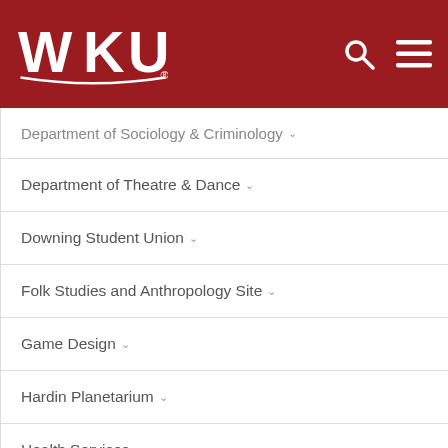WKU
Department of Sociology & Criminology
Department of Theatre & Dance
Downing Student Union
Folk Studies and Anthropology Site
Game Design
Hardin Planetarium
Health Services
Department of History
Human Resources News
Kentucky High School Media Institute News